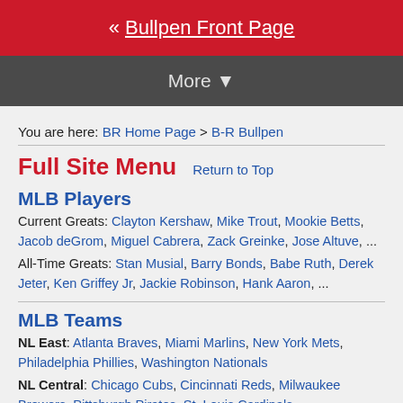« Bullpen Front Page
More ▼
You are here: BR Home Page > B-R Bullpen
Full Site Menu
Return to Top
MLB Players
Current Greats: Clayton Kershaw, Mike Trout, Mookie Betts, Jacob deGrom, Miguel Cabrera, Zack Greinke, Jose Altuve, ...
All-Time Greats: Stan Musial, Barry Bonds, Babe Ruth, Derek Jeter, Ken Griffey Jr, Jackie Robinson, Hank Aaron, ...
MLB Teams
NL East: Atlanta Braves, Miami Marlins, New York Mets, Philadelphia Phillies, Washington Nationals
NL Central: Chicago Cubs, Cincinnati Reds, Milwaukee Brewers, Pittsburgh Pirates, St. Louis Cardinals